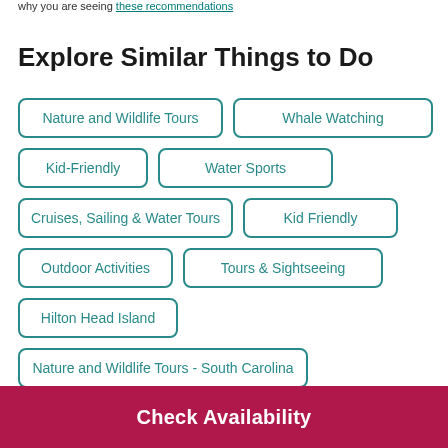why you are seeing these recommendations
Explore Similar Things to Do
Nature and Wildlife Tours
Whale Watching
Kid-Friendly
Water Sports
Cruises, Sailing & Water Tours
Kid Friendly
Outdoor Activities
Tours & Sightseeing
Hilton Head Island
Nature and Wildlife Tours - South Carolina
Check Availability